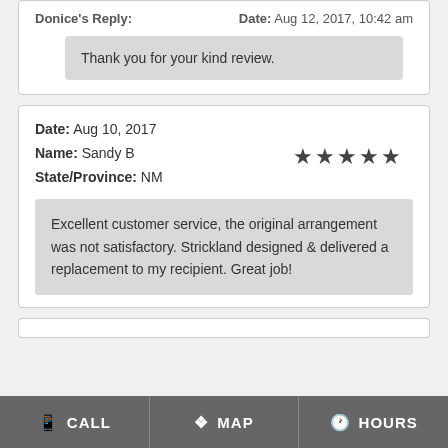Donice's Reply:   Date: Aug 12, 2017, 10:42 am
Thank you for your kind review.
Date: Aug 10, 2017
Name: Sandy B
State/Province: NM
Excellent customer service, the original arrangement was not satisfactory. Strickland designed & delivered a replacement to my recipient. Great job!
CALL   MAP   HOURS